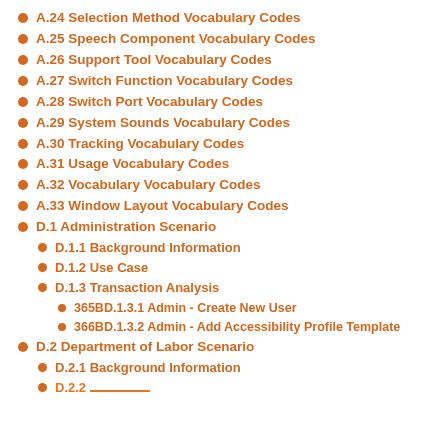A.24  Selection Method Vocabulary Codes
A.25  Speech Component Vocabulary Codes
A.26  Support Tool Vocabulary Codes
A.27  Switch Function Vocabulary Codes
A.28  Switch Port Vocabulary Codes
A.29  System Sounds Vocabulary Codes
A.30  Tracking Vocabulary Codes
A.31  Usage Vocabulary Codes
A.32  Vocabulary Vocabulary Codes
A.33  Window Layout Vocabulary Codes
D.1    Administration Scenario
D.1.1       Background Information
D.1.2       Use Case
D.1.3       Transaction Analysis
365BD.1.3.1   Admin - Create New User
366BD.1.3.2  Admin - Add Accessibility Profile Template
D.2    Department of Labor Scenario
D.2.1       Background Information
D.2.2       Scenario